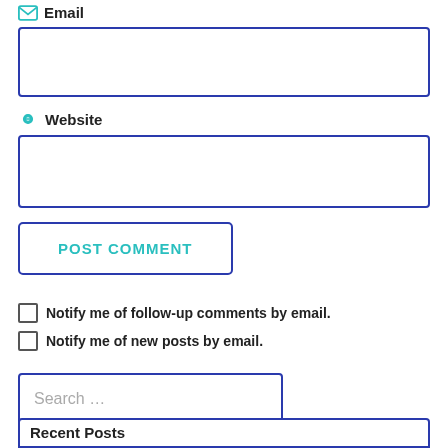Email
[Figure (other): Empty email input field with blue border]
Website
[Figure (other): Empty website input field with blue border]
[Figure (other): POST COMMENT button with blue border and teal text]
Notify me of follow-up comments by email.
Notify me of new posts by email.
[Figure (other): Search input field with placeholder text 'Search ...' and blue border]
[Figure (other): Recent Posts section box partial at bottom of page]